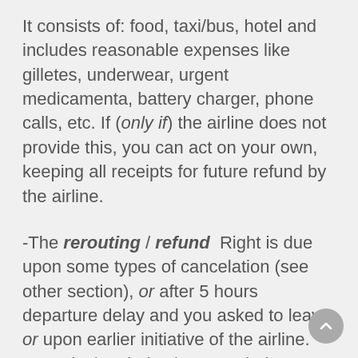It consists of: food, taxi/bus, hotel and includes reasonable expenses like gilletes, underwear, urgent medicamenta, battery charger, phone calls, etc. If (only if) the airline does not provide this, you can act on your own, keeping all receipts for future refund by the airline.
-The rerouting / refund Right is due upon some types of cancelation (see other section), or after 5 hours departure delay and you asked to leave, or upon earlier initiative of the airline. Yours is the choice between being refunded or rerouted using the alternative offered by the airline (probably the earliest). In this case, they will pay all care expenses until you reach your destination, unless you refuse their